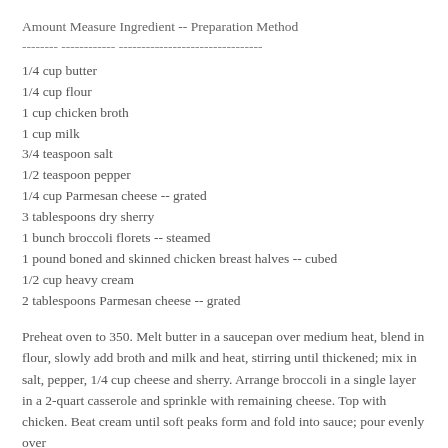Amount Measure Ingredient -- Preparation Method
-------- ------------ --------------------------------
1/4 cup butter
1/4 cup flour
1 cup chicken broth
1 cup milk
3/4 teaspoon salt
1/2 teaspoon pepper
1/4 cup Parmesan cheese -- grated
3 tablespoons dry sherry
1 bunch broccoli florets -- steamed
1 pound boned and skinned chicken breast halves -- cubed
1/2 cup heavy cream
2 tablespoons Parmesan cheese -- grated
Preheat oven to 350. Melt butter in a saucepan over medium heat, blend in flour, slowly add broth and milk and heat, stirring until thickened; mix in salt, pepper, 1/4 cup cheese and sherry. Arrange broccoli in a single layer in a 2-quart casserole and sprinkle with remaining cheese. Top with chicken. Beat cream until soft peaks form and fold into sauce; pour evenly over